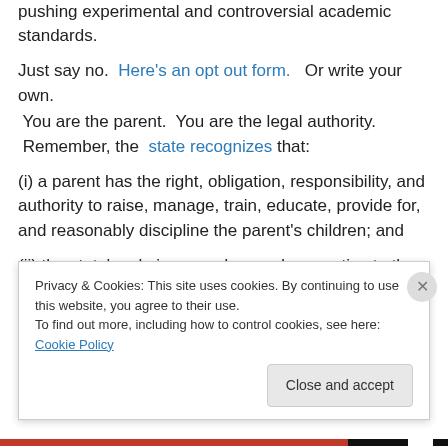pushing experimental and controversial academic standards.
Just say no.  Here's an opt out form.   Or write your own.  You are the parent.  You are the legal authority.  Remember, the  state recognizes  that:
(i) a parent has the right, obligation, responsibility, and authority to raise, manage, train, educate, provide for, and reasonably discipline the parent's children; and
(ii) the state's role is secondary and supportive to the primary role of a parent.
Privacy & Cookies: This site uses cookies. By continuing to use this website, you agree to their use. To find out more, including how to control cookies, see here: Cookie Policy